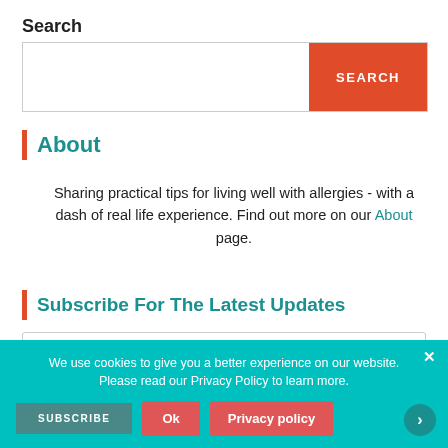Search
Search input and button
About
Sharing practical tips for living well with allergies - with a dash of real life experience. Find out more on our About page.
Subscribe For The Latest Updates
Your email address
I have read and agree to the Allergy Spot Website Terms & Privacy Policy
We use cookies to give you a better experience on our website. Please read our Privacy Policy to learn more.